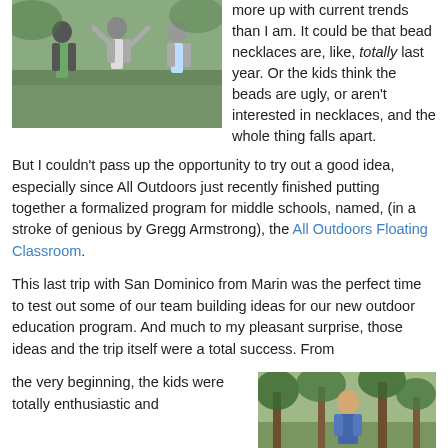[Figure (photo): Children outdoors, two figures standing, appears to be near water or park setting]
more up with current trends than I am. It could be that bead necklaces are, like, totally last year. Or the kids think the beads are ugly, or aren't interested in necklaces, and the whole thing falls apart.
But I couldn't pass up the opportunity to try out a good idea, especially since All Outdoors just recently finished putting together a formalized program for middle schools, named, (in a stroke of genious by Gregg Armstrong), the All Outdoors Floating Classroom.
This last trip with San Dominico from Marin was the perfect time to test out some of our team building ideas for our new outdoor education program. And much to my pleasant surprise, those ideas and the trip itself were a total success. From the very beginning, the kids were totally enthusiastic and
[Figure (photo): Person outdoors among trees, appears to be in a forested area]